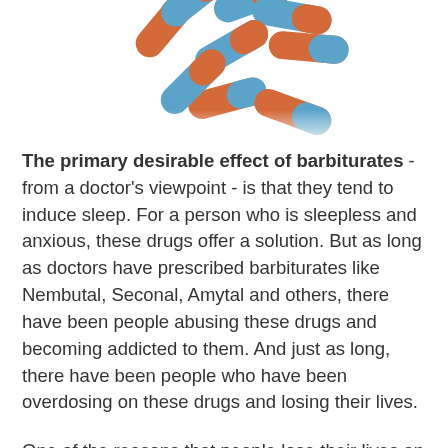[Figure (photo): Blue and orange capsule pills arranged in a scattered pile, viewed from above against a white background. Partial view showing the bottom portion of the pill arrangement.]
The primary desirable effect of barbiturates - from a doctor's viewpoint - is that they tend to induce sleep. For a person who is sleepless and anxious, these drugs offer a solution. But as long as doctors have prescribed barbiturates like Nembutal, Seconal, Amytal and others, there have been people abusing these drugs and becoming addicted to them. And just as long, there have been people who have been overdosing on these drugs and losing their lives.
One of the reasons that people lose their lives on barbiturates is that the dose that will kill a person is not that much more than the dose that will help them